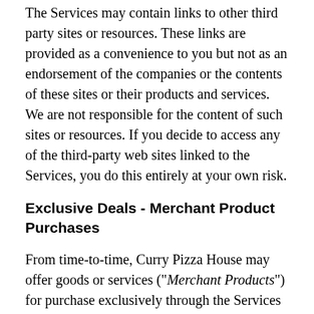The Services may contain links to other third party sites or resources. These links are provided as a convenience to you but not as an endorsement of the companies or the contents of these sites or their products and services. We are not responsible for the content of such sites or resources. If you decide to access any of the third-party web sites linked to the Services, you do this entirely at your own risk.
Exclusive Deals - Merchant Product Purchases
From time-to-time, Curry Pizza House may offer goods or services ("Merchant Products") for purchase exclusively through the Services (such offers are referred to below as "Exclusive Deals"). The following terms, as well as any terms and conditions referenced by Curry Pizza House ("Merchant Terms"), apply to any